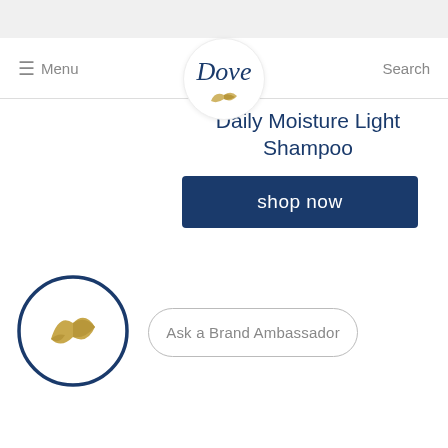[Figure (logo): Dove brand logo with italic wordmark 'Dove' in dark blue and a golden dove/leaf icon below, inside a white circle]
≡ Menu
Search
Daily Moisture Light Shampoo
shop now
[Figure (logo): Dove circular logo: dark navy blue circle outline with a golden dove bird silhouette in the center on white background]
Ask a Brand Ambassador